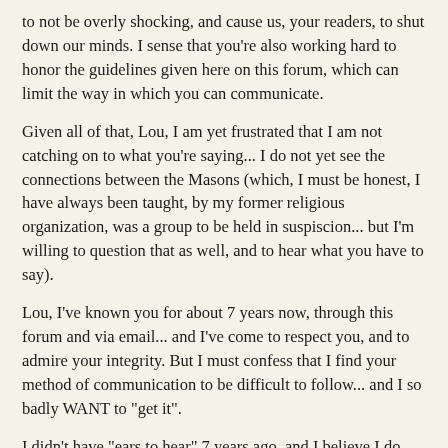to not be overly shocking, and cause us, your readers, to shut down our minds. I sense that you're also working hard to honor the guidelines given here on this forum, which can limit the way in which you can communicate.
Given all of that, Lou, I am yet frustrated that I am not catching on to what you're saying... I do not yet see the connections between the Masons (which, I must be honest, I have always been taught, by my former religious organization, was a group to be held in suspiscion... but I'm willing to question that as well, and to hear what you have to say).
Lou, I've known you for about 7 years now, through this forum and via email... and I've come to respect you, and to admire your integrity. But I must confess that I find your method of communication to be difficult to follow... and I so badly WANT to "get it".
I didn't have "ears to hear" 7 years ago, and I believe I do now. At least, better. Can you help me, and the others who may be like me, to understand what you're saying? Can you be more clear? Can you connect the dots?